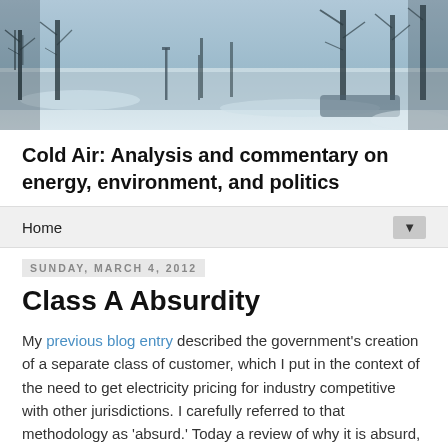[Figure (photo): Winter scene photograph showing a snowy road or parking lot with bare trees and a cold blue-grey sky, used as the blog header image.]
Cold Air: Analysis and commentary on energy, environment, and politics
Home ▼
Sunday, March 4, 2012
Class A Absurdity
My previous blog entry described the government's creation of a separate class of customer, which I put in the context of the need to get electricity pricing for industry competitive with other jurisdictions. I carefully referred to that methodology as 'absurd.' Today a review of why it is absurd, why it is bad that it is absurd, and why Ontario is worse off because absurd is